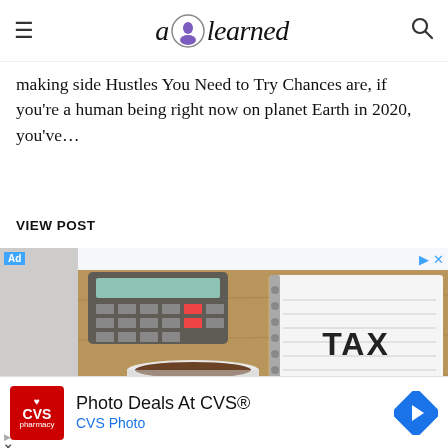a ♟ learned
making side hustles you need to try chances are, if you're a human being right now on planet Earth in 2020, you've...
VIEW POST
[Figure (photo): Advertisement banner showing a cup of coffee and a spiral notebook with 'TAX RELIEF' written in block letters, with a pen beside the notebook and a calculator in the background. Labeled 'Ad'.]
[Figure (photo): Bottom advertisement for 'Photo Deals At CVS®' with CVS Pharmacy logo in red, subtitle 'CVS Photo' in blue, and a blue navigation arrow icon on the right. Google Ads attribution arrow and X button at bottom left.]